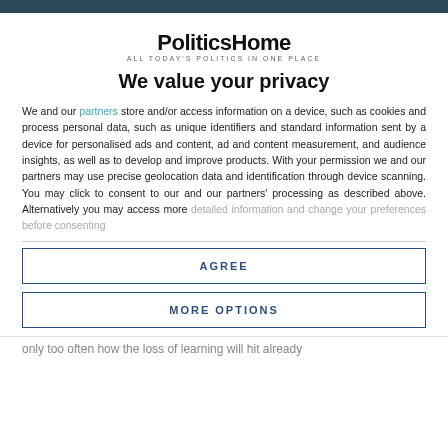PoliticsHome — ALL TODAY'S POLITICS IN ONE PLACE
We value your privacy
We and our partners store and/or access information on a device, such as cookies and process personal data, such as unique identifiers and standard information sent by a device for personalised ads and content, ad and content measurement, and audience insights, as well as to develop and improve products. With your permission we and our partners may use precise geolocation data and identification through device scanning. You may click to consent to our and our partners' processing as described above. Alternatively you may access more detailed information and change your preferences before consenting
AGREE
MORE OPTIONS
only too often how the loss of learning will hit already